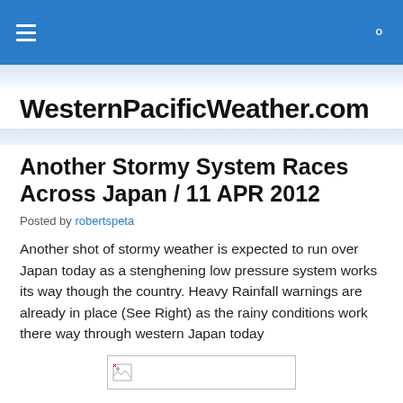WesternPacificWeather.com — site header bar with hamburger menu and search icon
WesternPacificWeather.com
Another Stormy System Races Across Japan / 11 APR 2012
Posted by robertspeta
Another shot of stormy weather is expected to run over Japan today as a stenghening low pressure system works its way though the country. Heavy Rainfall warnings are already in place (See Right) as the rainy conditions work there way through western Japan today
[Figure (photo): Broken image placeholder at bottom of article]